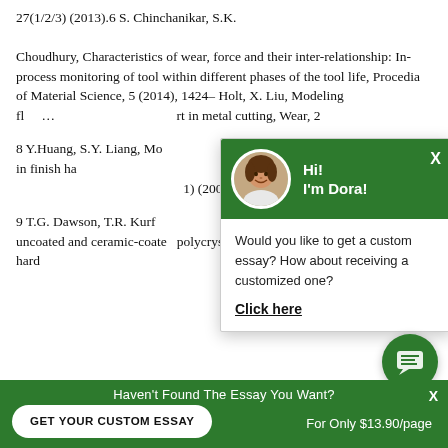27(1/2/3) (2013).6 S. Chinchanikar, S.K. Choudhury, Characteristics of wear, force and their inter-relationship: In-process monitoring of tool within different phases of the tool life, Procedia of Material Science, 5 (2014), 1424– Holt, X. Liu, Modeling fl… rt in metal cutting, Wear, 2
8 Y.Huang, S.Y. Liang, Mo… r progression in finish ha… Manufacturing Science … 1) (2004) 98–106.
9 T.G. Dawson, T.R. Kurf… of flank wear on uncoated and ceramic-coate… polycrystalline cubic boron nitride tools in hard…
[Figure (screenshot): Chat popup with avatar of a woman named Dora, green header, and message asking if user wants a custom essay with a 'Click here' link.]
Haven't Found The Essay You Want?
GET YOUR CUSTOM ESSAY
For Only $13.90/page